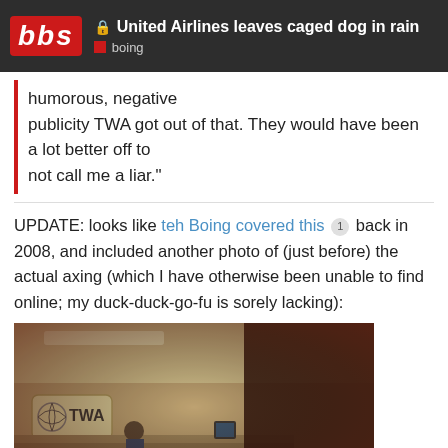United Airlines leaves caged dog in rain | boing
humorous, negative publicity TWA got out of that. They would have been a lot better off to not call me a liar."
UPDATE: looks like teh Boing covered this [1] back in 2008, and included another photo of (just before) the actual axing (which I have otherwise been unable to find online; my duck-duck-go-fu is sorely lacking):
[Figure (photo): Vintage photo of a TWA airline counter with TWA logo on the wall, a person sitting at the counter, and a large dark silhouette in the foreground]
9 / 50